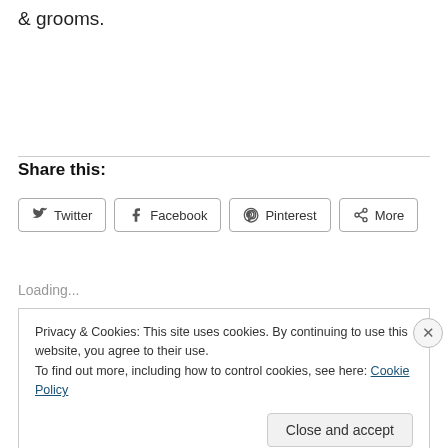& grooms.
Share this:
Twitter  Facebook  Pinterest  More
Loading...
Privacy & Cookies: This site uses cookies. By continuing to use this website, you agree to their use.
To find out more, including how to control cookies, see here: Cookie Policy
Close and accept